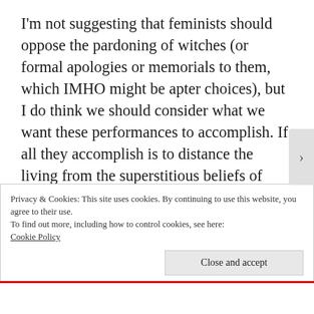I'm not suggesting that feminists should oppose the pardoning of witches (or formal apologies or memorials to them, which IMHO might be apter choices), but I do think we should consider what we want these performances to accomplish. If all they accomplish is to distance the living from the superstitious beliefs of their long-dead ancestors, that's fine as far as it goes, but there's nothing especially feminist about it. For the gesture to 'have an impact in
Privacy & Cookies: This site uses cookies. By continuing to use this website, you agree to their use.
To find out more, including how to control cookies, see here:
Cookie Policy